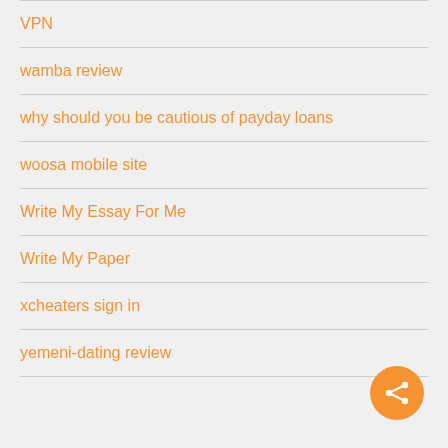VPN
wamba review
why should you be cautious of payday loans
woosa mobile site
Write My Essay For Me
Write My Paper
xcheaters sign in
yemeni-dating review
[Figure (illustration): Orange circular floating action button with a share icon (three connected dots) in white, positioned at bottom right corner]